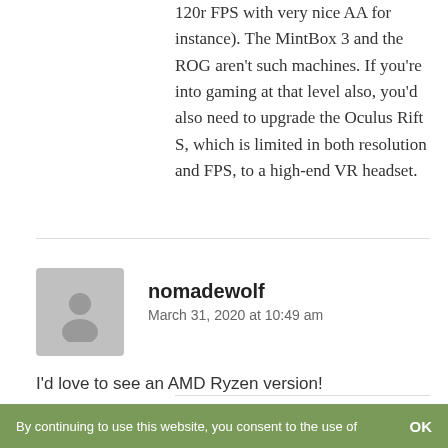120r FPS with very nice AA for instance). The MintBox 3 and the ROG aren't such machines. If you're into gaming at that level also, you'd also need to upgrade the Oculus Rift S, which is limited in both resolution and FPS, to a high-end VR headset.
nomadewolf
March 31, 2020 at 10:49 am
I'd love to see an AMD Ryzen version!
Reply
By continuing to use this website, you consent to the use of   OK